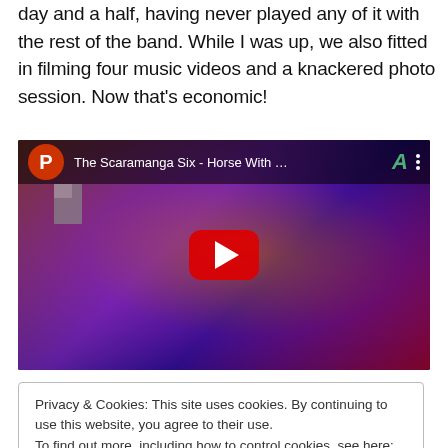day and a half, having never played any of it with the rest of the band. While I was up, we also fitted in filming four music videos and a knackered photo session. Now that’s economic!
[Figure (screenshot): Embedded YouTube video player showing 'The Scaramanga Six - Horse With ...' with a red play button overlay on a colorful abstract background with a face]
Privacy & Cookies: This site uses cookies. By continuing to use this website, you agree to their use. To find out more, including how to control cookies, see here: Cookie Policy   Close and accept